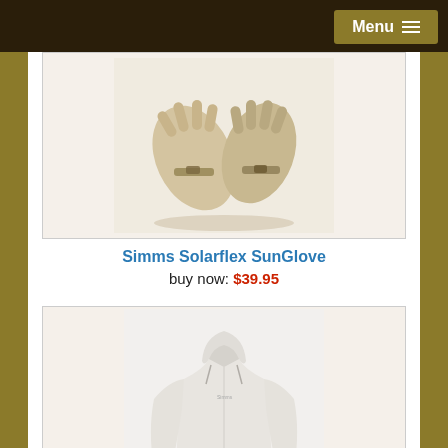Menu
[Figure (photo): Simms Solarflex SunGlove product image showing gloves]
Simms Solarflex SunGlove
buy now: $39.95
[Figure (photo): Simms Women's Solarflex Hoody Print 2XL product image showing light grey long-sleeve hoodie]
Simms Women's Solarflex Hoody Print 2XL
buy now: $69.95 $49.95